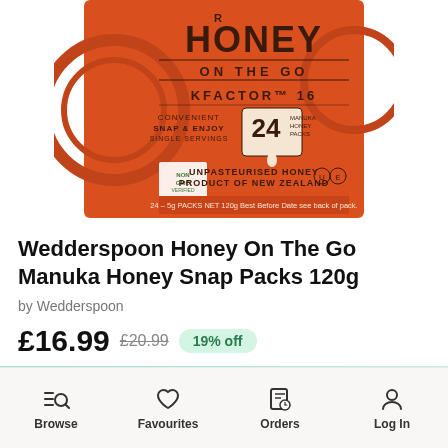[Figure (photo): Product photo of Wedderspoon Manuka Honey On The Go box with orange packaging, showing KFACTOR 16, 24 snap packs, 120g, NON-GMO verified, Unpasteurised Honey Product of New Zealand]
Wedderspoon Honey On The Go Manuka Honey Snap Packs 120g
by Wedderspoon
£16.99 £20.99 19% off
Browse  Favourites  Orders  Log In